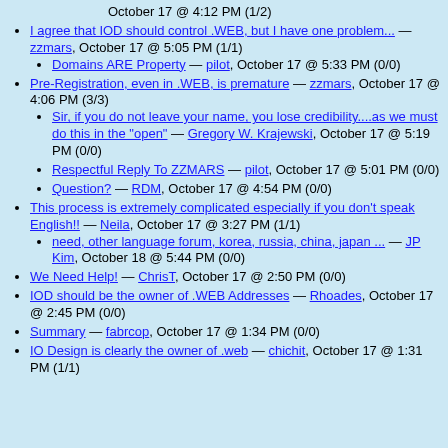October 17 @ 4:12 PM (1/2)
I agree that IOD should control .WEB, but I have one problem... — zzmars, October 17 @ 5:05 PM (1/1)
Domains ARE Property — pilot, October 17 @ 5:33 PM (0/0)
Pre-Registration, even in .WEB, is premature — zzmars, October 17 @ 4:06 PM (3/3)
Sir, if you do not leave your name, you lose credibility....as we must do this in the "open" — Gregory W. Krajewski, October 17 @ 5:19 PM (0/0)
Respectful Reply To ZZMARS — pilot, October 17 @ 5:01 PM (0/0)
Question? — RDM, October 17 @ 4:54 PM (0/0)
This process is extremely complicated especially if you don't speak English!! — Neila, October 17 @ 3:27 PM (1/1)
need, other language forum, korea, russia, china, japan ... — JP Kim, October 18 @ 5:44 PM (0/0)
We Need Help! — ChrisT, October 17 @ 2:50 PM (0/0)
IOD should be the owner of .WEB Addresses — Rhoades, October 17 @ 2:45 PM (0/0)
Summary — fabrcop, October 17 @ 1:34 PM (0/0)
IO Design is clearly the owner of .web — chichit, October 17 @ 1:31 PM (1/1)